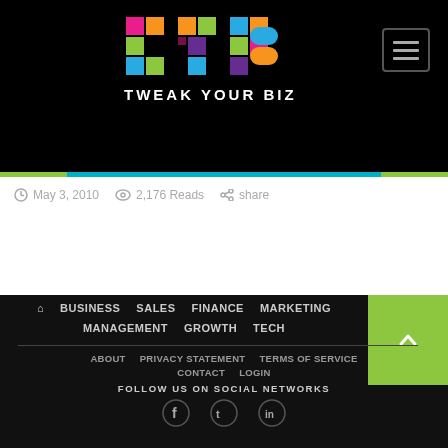[Figure (logo): Tweak Your Biz colorful TYB logo with mosaic tile letters on black background]
TWEAK YOUR BIZ
May 3, 2010   2,176 Reads   share
BUSINESS  SALES  FINANCE  MARKETING  MANAGEMENT  GROWTH  TECH  ABOUT  PRIVACY STATEMENT  TERMS OF SERVICE  CONTACT  LOGIN  FOLLOW US ON SOCIAL NETWORKS